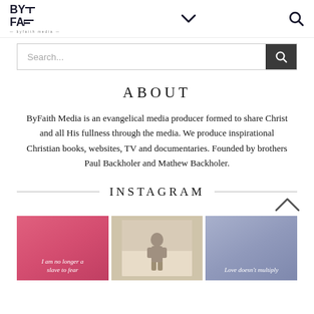BY FAE — ByFaith Media logo, navigation with chevron and search icon
Search...
ABOUT
ByFaith Media is an evangelical media producer formed to share Christ and all His fullness through the media. We produce inspirational Christian books, websites, TV and documentaries. Founded by brothers Paul Backholer and Mathew Backholer.
INSTAGRAM
[Figure (photo): Pink gradient Instagram card with italic text: I am no longer a slave to fear]
[Figure (photo): Vintage-style photo showing a person outdoors in sepia tones]
[Figure (photo): Blue/purple gradient Instagram card with italic text: Love doesn't multiply]